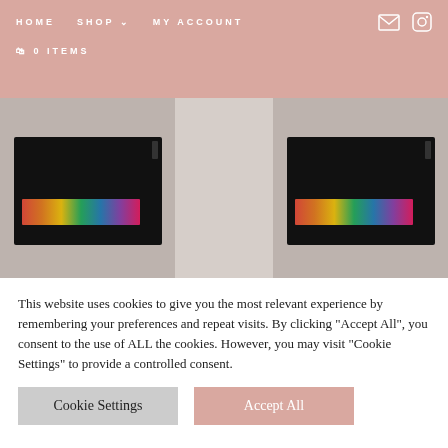HOME  SHOP  MY ACCOUNT  0 ITEMS
[Figure (photo): Black clutch bag with colorful embroidered lettering on dark background, left product]
[Figure (photo): Black clutch bag with colorful embroidered lettering on dark background, right product]
ARS $
EUR €
Vintage Wanderlust E Laptop
Vintage Wanderlust E Laptop
This website uses cookies to give you the most relevant experience by remembering your preferences and repeat visits. By clicking "Accept All", you consent to the use of ALL the cookies. However, you may visit "Cookie Settings" to provide a controlled consent.
Cookie Settings
Accept All